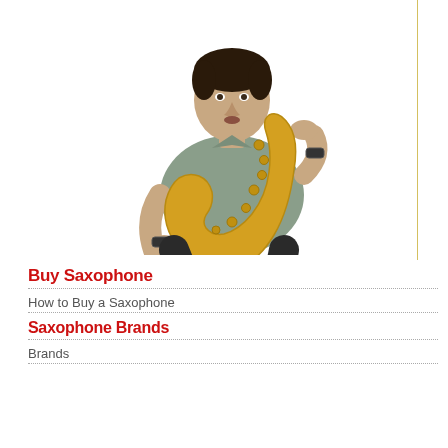[Figure (photo): Man playing a gold saxophone, wearing a grey polo shirt, photographed from waist up on white background]
Buy Saxophone
How to Buy a Saxophone
Saxophone Brands
Brands